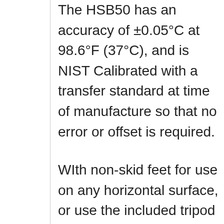The HSB50 has an accuracy of ±0.05°C at 98.6°F (37°C), and is NIST Calibrated with a transfer standard at time of manufacture so that no error or offset is required.
WIth non-skid feet for use on any horizontal surface, or use the included tripod seat for temporary or permanent mounting.  With an 85 to 250VAC power supply and included six-foot cord with selectable plug, the HSB50 can be